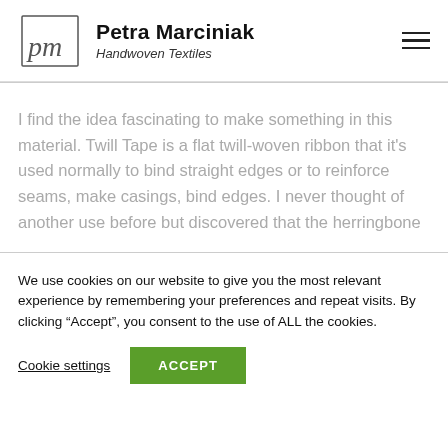Petra Marciniak Handwoven Textiles
I find the idea fascinating to make something in this material. Twill Tape is a flat twill-woven ribbon that it's used normally to bind straight edges or to reinforce seams, make casings, bind edges. I never thought of another use before but discovered that the herringbone
We use cookies on our website to give you the most relevant experience by remembering your preferences and repeat visits. By clicking “Accept”, you consent to the use of ALL the cookies.
Cookie settings
ACCEPT